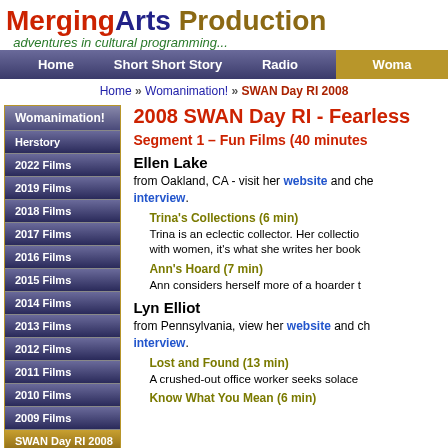MergingArts Productions - adventures in cultural programming...
Home | Short Short Story | Radio | Woma...
Home » Womanimation! » SWAN Day RI 2008
2008 SWAN Day RI - Fearless...
Segment 1 – Fun Films (40 minutes...
Ellen Lake
from Oakland, CA - visit her website and che... interview.
Trina's Collections (6 min)
Trina is an eclectic collector. Her collectio... with women, it's what she writes her book...
Ann's Hoard (7 min)
Ann considers herself more of a hoarder t...
Lyn Elliot
from Pennsylvania, view her website and ch... interview.
Lost and Found (13 min)
A crushed-out office worker seeks solace...
Know What You Mean (6 min)